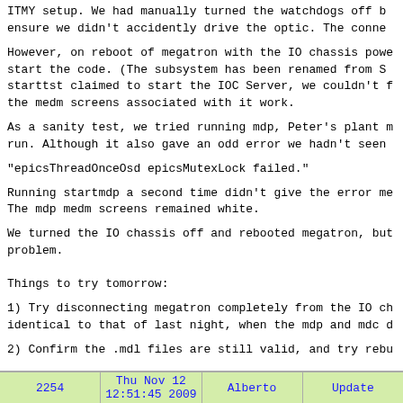ITMY setup.  We had manually turned the watchdogs off b ensure we didn't accidently drive the optic.  The conne
However, on reboot of megatron with the IO chassis powe start the code.  (The subsystem has been renamed from S starttst claimed to start the IOC Server, we couldn't f the medm screens associated with it work.
As a sanity test, we tried running mdp, Peter's plant m run.  Although it also gave an odd error we hadn't seen
"epicsThreadOnceOsd epicsMutexLock failed."
Running startmdp a second time didn't give the error me The mdp medm screens remained white.
We turned the IO chassis off and rebooted megatron, but problem.
Things to try tomorrow:
1) Try disconnecting megatron completely from the IO ch identical to that of last night, when the mdp and mdc d
2) Confirm the .mdl files are still valid, and try rebu
2254 | Thu Nov 12 12:51:45 2009 | Alberto | Update